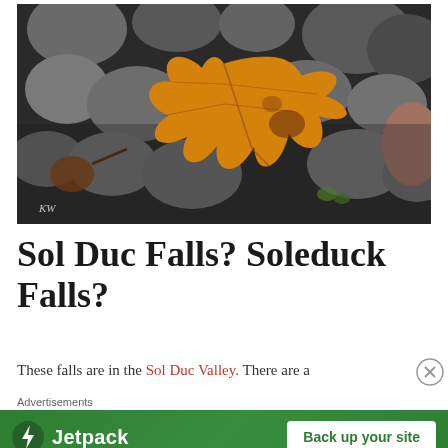[Figure (photo): Autumn orange maple leaf resting on a bed of smooth grey river rocks. A watermark 'KW' appears in the lower-left corner of the photo.]
Sol Duc Falls? Soleduck Falls?
These falls are in the Sol Duc Valley. There are a